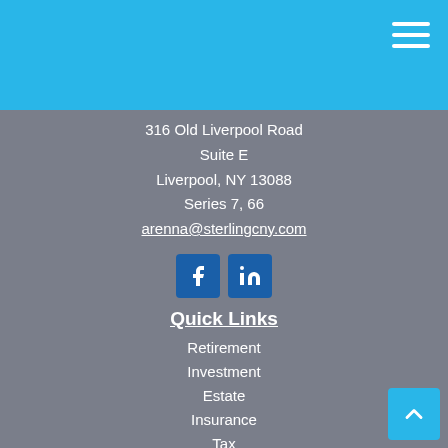316 Old Liverpool Road
Suite E
Liverpool, NY 13088
Series 7, 66
arenna@sterlingcny.com
[Figure (illustration): Facebook and LinkedIn social media icon buttons]
Quick Links
Retirement
Investment
Estate
Insurance
Tax
Money
Lifestyle
All Articles
All Videos
All Calculators
All Presentations